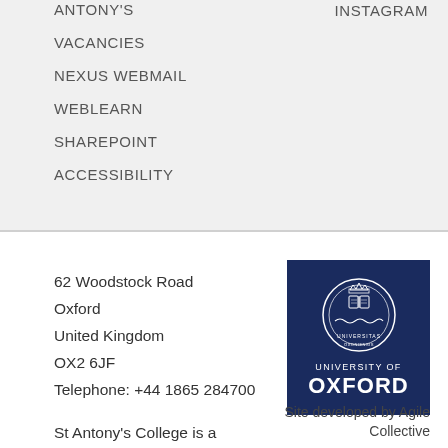ANTONY'S
INSTAGRAM
VACANCIES
NEXUS WEBMAIL
WEBLEARN
SHAREPOINT
ACCESSIBILITY
62 Woodstock Road
Oxford
United Kingdom
OX2 6JF
Telephone: +44 1865 284700
[Figure (logo): University of Oxford logo: dark navy blue square with University of Oxford seal/crest in white, text 'UNIVERSITY OF OXFORD' in white]
Site developed by Agile Collective
St Antony's College is a